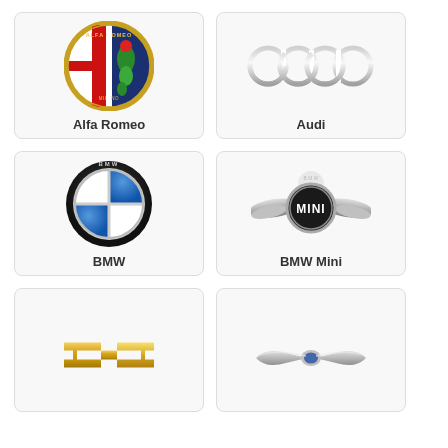[Figure (logo): Alfa Romeo circular logo with red cross, green serpent and blue background with gold border]
Alfa Romeo
[Figure (logo): Audi four interlocking rings logo in silver/chrome]
Audi
[Figure (logo): BMW circular logo with black outer ring and blue and white quartered circle]
BMW
[Figure (logo): BMW Mini logo with wings and MINI text in center circle]
BMW Mini
[Figure (logo): Chevrolet gold bowtie logo]
Chevrolet (partial)
[Figure (logo): Chrysler wings logo in silver]
Chrysler (partial)